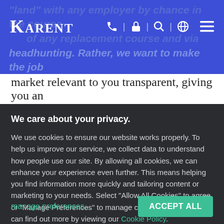KARENT — navigation header with phone, lock, search, globe, and menu icons
"land" with any employer by chance in the course of any replacement course and via headhunting. Rather, we want to make the job market relevant to you transparent, giving you an
We care about your privacy.
We use cookies to ensure our website works properly. To help us improve our service, we collect data to understand how people use our site. By allowing all cookies, we can enhance your experience even further. This means helping you find information more quickly and tailoring content or marketing to your needs. Select “Allow All Cookies” to agree or “Manage Preferences” to manage cookie settings. You can find out more by viewing our Cookie Policy.
manage preferences...
ACCEPT ALL